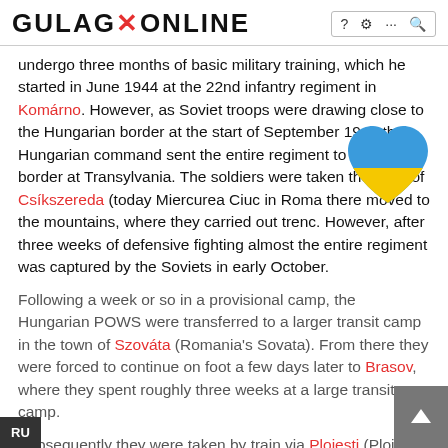GULAG×ONLINE
undergo three months of basic military training, which he started in June 1944 at the 22nd infantry regiment in Komárno. However, as Soviet troops were drawing close to the Hungarian border at the start of September 1944 the Hungarian command sent the entire regiment to eastern border at Transylvania. The soldiers were taken the town of Csíkszereda (today Miercurea Ciuc in Roma there moved to the mountains, where they carried out trenc. However, after three weeks of defensive fighting almost the entire regiment was captured by the Soviets in early October.
Following a week or so in a provisional camp, the Hungarian POWS were transferred to a larger transit camp in the town of Szováta (Romania's Sovata). From there they were forced to continue on foot a few days later to Brasov, where they spent roughly three weeks at a large transit camp.
Subsequently they were taken by train via Plojești (Ploiești) to the USSR. In the middle of October 1944, after a journey of three weeks, they reached a spot around 10 km from the town of Chelyabinsk (Shagol st.) that was home to transit camp no. 1, the largest facility of its type for